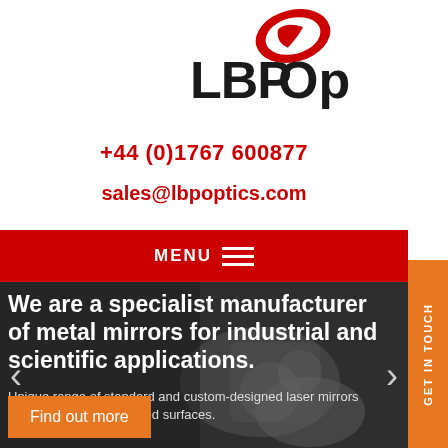[Figure (logo): LBP Optics logo with red oval/swoosh and bold black text]
+44 (0)1767 600877
sales@lbpoptics.com
MENU
[Figure (photo): Blurred close-up photo of metal optical components/mirrors on a workshop surface]
We are a specialist manufacturer of metal mirrors for industrial and scientific applications.
Unique range of standard and custom-designed laser mirrors with ultra-smooth polished surfaces.
Find out more